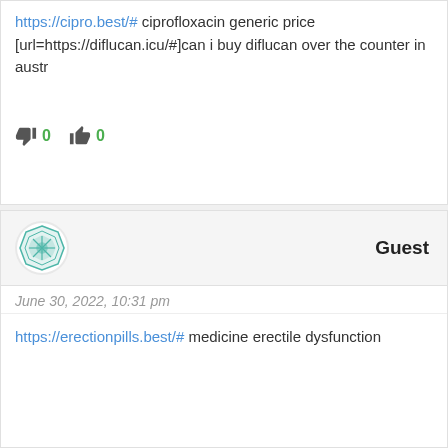https://cipro.best/# ciprofloxacin generic price
[url=https://diflucan.icu/#]can i buy diflucan over the counter in austr
👎 0   👍 0
Guest
June 30, 2022, 10:31 pm
https://erectionpills.best/# medicine erectile dysfunction